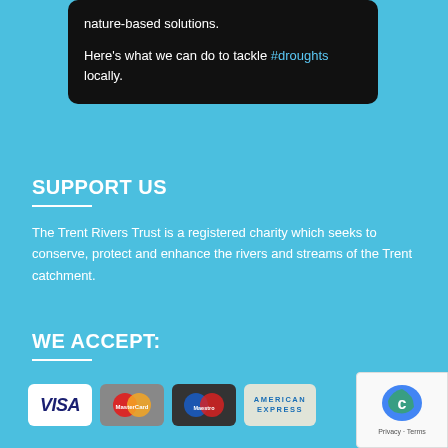nature-based solutions.

Here's what we can do to tackle #droughts locally.
SUPPORT US
The Trent Rivers Trust is a registered charity which seeks to conserve, protect and enhance the rivers and streams of the Trent catchment.
WE ACCEPT:
[Figure (logo): Payment method logos: VISA, MasterCard, Maestro, American Express]
[Figure (other): reCAPTCHA badge with Privacy and Terms links]